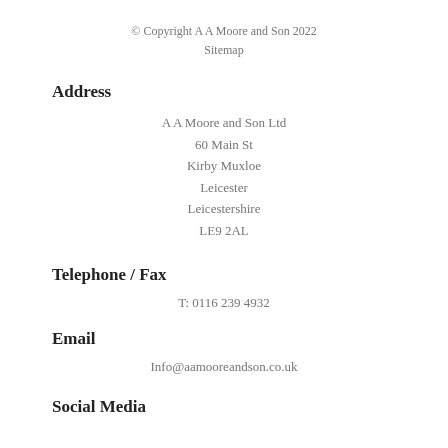© Copyright A A Moore and Son 2022
Sitemap
Address
A A Moore and Son Ltd
60 Main St
Kirby Muxloe
Leicester
Leicestershire
LE9 2AL
Telephone / Fax
T: 0116 239 4932
Email
Info@aamooreandson.co.uk
Social Media